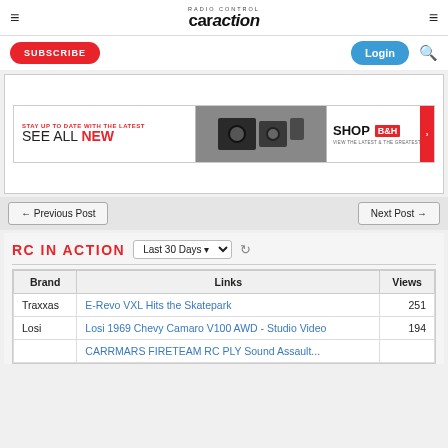RC Car Action — header navigation with hamburger menus, subscribe button, login button, search icon
[Figure (screenshot): B&H Photo advertisement banner: 'STAY UP TO DATE WITH THE LATEST SEE ALL NEW' with camera product images and B&H logo, SHOP VIEW THE LATEST & THE GREATEST]
← Previous Post    Next Post →
RC IN ACTION
| Brand | Links | Views |
| --- | --- | --- |
| Traxxas | E-Revo VXL Hits the Skatepark | 251 |
| Losi | Losi 1969 Chevy Camaro V100 AWD - Studio Video | 194 |
|  | CARR WARS FIRETEAM RC PLY Sound Assault... |  |